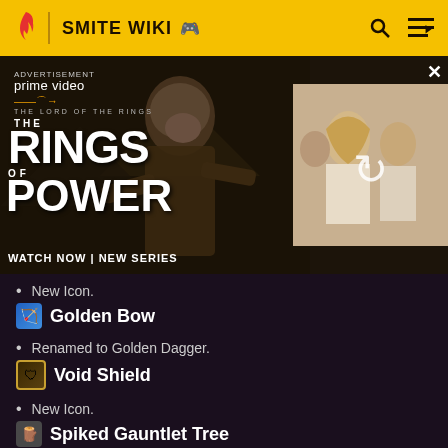SMITE WIKI
[Figure (screenshot): Amazon Prime Video advertisement for 'The Lord of the Rings: The Rings of Power' showing a robed figure and a group of people in period costume. Text reads: prime video, THE LORD OF THE RINGS THE RINGS OF POWER, WATCH NOW | NEW SERIES. Advertisement label and close button (×) visible.]
New Icon.
Golden Bow
Renamed to Golden Dagger.
Void Shield
New Icon.
Spiked Gauntlet Tree
New Icons. Cursed Gauntlet still has it's old icon.
Soul Catcher